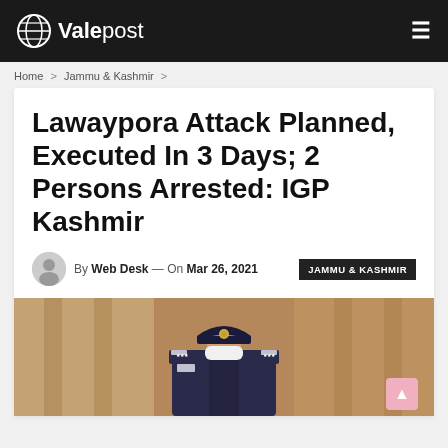ValePost
Home > Jammu & Kashmir >
Lawaypora Attack Planned, Executed In 3 Days; 2 Persons Arrested: IGP Kashmir
By Web Desk — On Mar 26, 2021  JAMMU & KASHMIR
[Figure (photo): A police officer in uniform with cap and face mask, photographed from chest up against a blurred background]